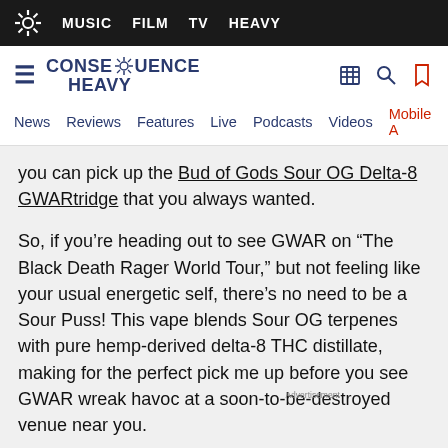MUSIC  FILM  TV  HEAVY
CONSEQUENCE HEAVY
News  Reviews  Features  Live  Podcasts  Videos  Mobile A
you can pick up the Bud of Gods Sour OG Delta-8 GWARtridge that you always wanted.
So, if you're heading out to see GWAR on “The Black Death Rager World Tour,” but not feeling like your usual energetic self, there’s no need to be a Sour Puss! This vape blends Sour OG terpenes with pure hemp-derived delta-8 THC distillate, making for the perfect pick me up before you see GWAR wreak havoc at a soon-to-be-destroyed venue near you.